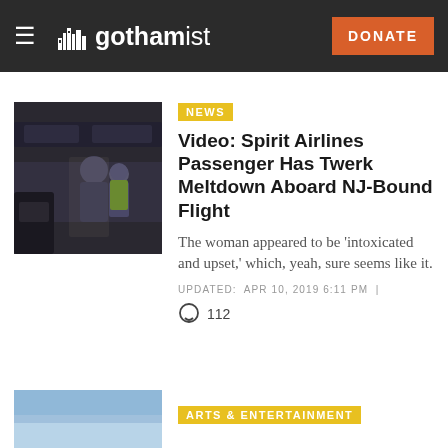gothamist — DONATE
[Figure (photo): Dark interior photo of airplane cabin with passengers standing in the aisle]
NEWS
Video: Spirit Airlines Passenger Has Twerk Meltdown Aboard NJ-Bound Flight
The woman appeared to be 'intoxicated and upset,' which, yeah, sure seems like it.
UPDATED:  APR 10, 2019 6:11 PM  |
112
ARTS & ENTERTAINMENT